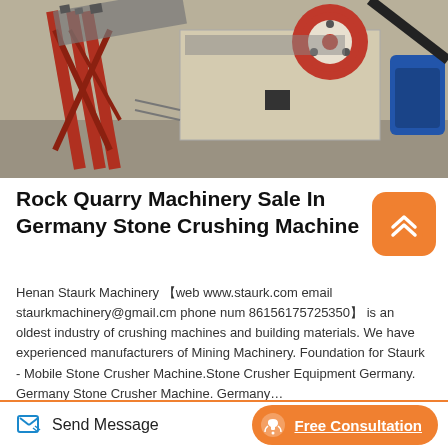[Figure (photo): Industrial rock quarry jaw crusher machine with red flywheel, conveyor belt, and blue motor in outdoor setting]
Rock Quarry Machinery Sale In Germany Stone Crushing Machine
Henan Staurk Machinery【web www.staurk.com email staurkmachinery@gmail.cm phone num 86156175725350】 is an oldest industry of crushing machines and building materials. We have experienced manufacturers of Mining Machinery. Foundation for Staurk - Mobile Stone Crusher Machine.Stone Crusher Equipment Germany. Germany Stone Crusher Machine. Germany…
[Figure (photo): Partial view of another industrial crushing machine in dark setting]